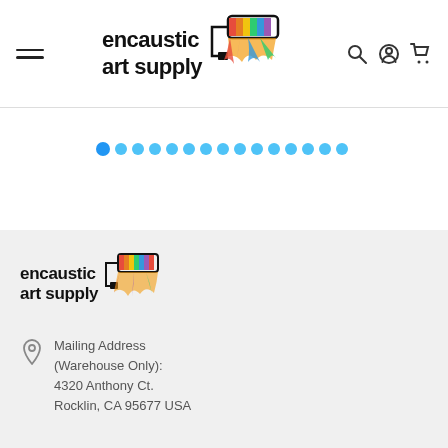[Figure (logo): Encaustic Art Supply logo in header with paint roller graphic and colorful paint stripes]
[Figure (other): Carousel pagination dots — 16 circular dots in blue/teal, first dot slightly larger (active state)]
[Figure (logo): Encaustic Art Supply logo in footer section with paint roller graphic and colorful paint stripes]
Mailing Address (Warehouse Only):
4320 Anthony Ct.
Rocklin, CA 95677 USA